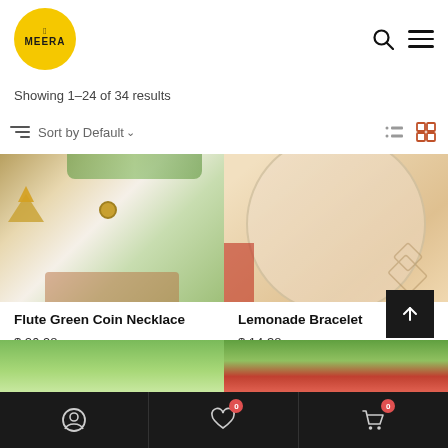[Figure (logo): Meera brand logo: yellow circle with peacock and MEERA text]
Showing 1–24 of 34 results
Sort by Default
[Figure (other): Product image of Flute Green Coin Necklace jewelry on white fabric]
Flute Green Coin Necklace
$ 26.98
[Figure (other): Product image of Lemonade Bracelet on beige/tan surface]
Lemonade Bracelet
$ 14.38
[Figure (other): Partial product image at bottom left, green plate]
[Figure (other): Partial product image at bottom right, green and red]
Account | Wishlist (0) | Cart (0)